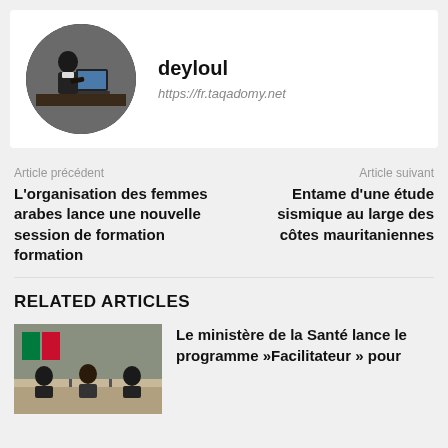[Figure (photo): Circular avatar photo of a person (deyloul) sitting at a desk with a laptop]
deyloul
https://fr.taqadomy.net
Article précédent
L'organisation des femmes arabes lance une nouvelle session de formation formation
Article suivant
Entame d'une étude sismique au large des côtes mauritaniennes
RELATED ARTICLES
[Figure (photo): Photo of people at a meeting table with flags in background]
Le ministère de la Santé lance le programme »Facilitateur » pour